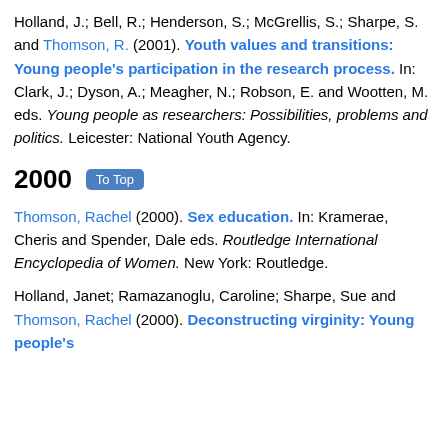Holland, J.; Bell, R.; Henderson, S.; McGrellis, S.; Sharpe, S. and Thomson, R. (2001). Youth values and transitions: Young people's participation in the research process. In: Clark, J.; Dyson, A.; Meagher, N.; Robson, E. and Wootten, M. eds. Young people as researchers: Possibilities, problems and politics. Leicester: National Youth Agency.
2000  To Top
Thomson, Rachel (2000). Sex education. In: Kramerae, Cheris and Spender, Dale eds. Routledge International Encyclopedia of Women. New York: Routledge.
Holland, Janet; Ramazanoglu, Caroline; Sharpe, Sue and Thomson, Rachel (2000). Deconstructing virginity: Young people's